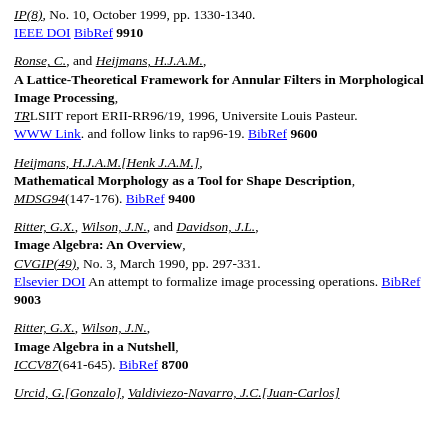IP(8), No. 10, October 1999, pp. 1330-1340. IEEE DOI BibRef 9910
Ronse, C., and Heijmans, H.J.A.M., A Lattice-Theoretical Framework for Annular Filters in Morphological Image Processing, TRLSIIT report ERII-RR96/19, 1996, Universite Louis Pasteur. WWW Link. and follow links to rap96-19. BibRef 9600
Heijmans, H.J.A.M.[Henk J.A.M.], Mathematical Morphology as a Tool for Shape Description, MDSG94(147-176). BibRef 9400
Ritter, G.X., Wilson, J.N., and Davidson, J.L., Image Algebra: An Overview, CVGIP(49), No. 3, March 1990, pp. 297-331. Elsevier DOI An attempt to formalize image processing operations. BibRef 9003
Ritter, G.X., Wilson, J.N., Image Algebra in a Nutshell, ICCV87(641-645). BibRef 8700
Urcid, G.[Gonzalo], Valdiviezo-Navarro, J.C.[Juan-Carlos]